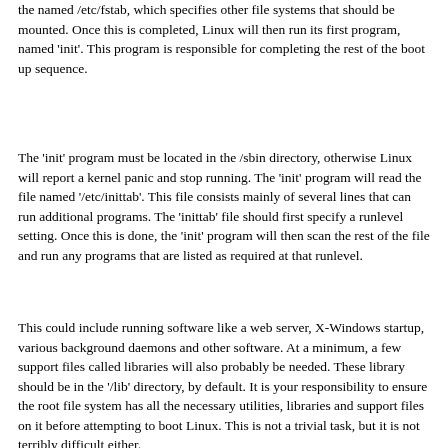the named /etc/fstab, which specifies other file systems that should be mounted. Once this is completed, Linux will then run its first program, named 'init'. This program is responsible for completing the rest of the boot up sequence.
The 'init' program must be located in the /sbin directory, otherwise Linux will report a kernel panic and stop running. The 'init' program will read the file named '/etc/inittab'. This file consists mainly of several lines that can run additional programs. The 'inittab' file should first specify a runlevel setting. Once this is done, the 'init' program will then scan the rest of the file and run any programs that are listed as required at that runlevel.
This could include running software like a web server, X-Windows startup, various background daemons and other software. At a minimum, a few support files called libraries will also probably be needed. These library should be in the '/lib' directory, by default. It is your responsibility to ensure the root file system has all the necessary utilities, libraries and support files on it before attempting to boot Linux. This is not a trivial task, but it is not terribly difficult either.